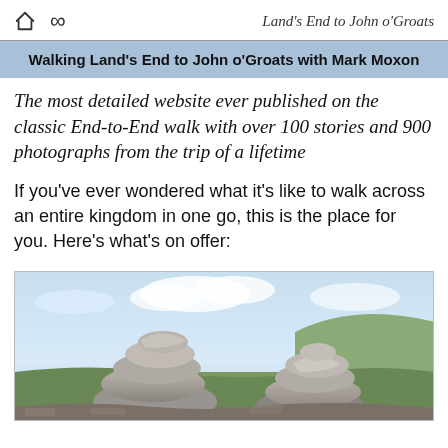Land's End to John o'Groats
Walking Land's End to John o'Groats with Mark Moxon
The most detailed website ever published on the classic End-to-End walk with over 100 stories and 900 photographs from the trip of a lifetime
If you've ever wondered what it's like to walk across an entire kingdom in one go, this is the place for you. Here's what's on offer:
[Figure (photo): Two stacked granite rock formations (tors) on a moorland hillside with grass and cloudy sky in the background]